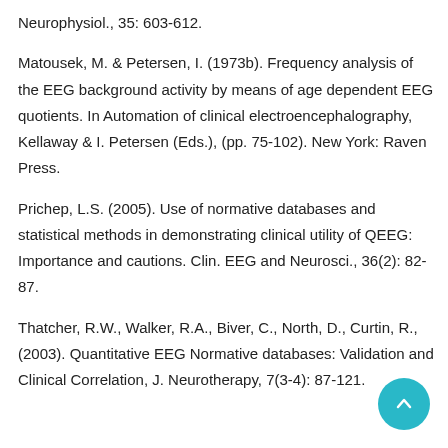Neurophysiol., 35: 603-612.
Matousek, M. & Petersen, I. (1973b). Frequency analysis of the EEG background activity by means of age dependent EEG quotients. In Automation of clinical electroencephalography, Kellaway & I. Petersen (Eds.), (pp. 75-102). New York: Raven Press.
Prichep, L.S. (2005). Use of normative databases and statistical methods in demonstrating clinical utility of QEEG: Importance and cautions. Clin. EEG and Neurosci., 36(2): 82-87.
Thatcher, R.W., Walker, R.A., Biver, C., North, D., Curtin, R., (2003). Quantitative EEG Normative databases: Validation and Clinical Correlation, J. Neurotherapy, 7(3-4): 87-121.